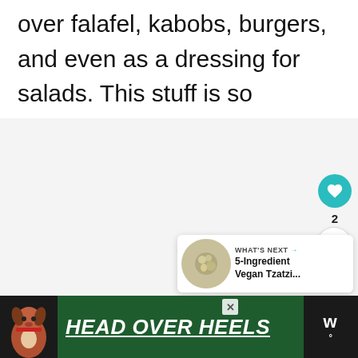over falafel, kabobs, burgers, and even as a dressing for salads. This stuff is so versatile and seriously addictive!
[Figure (other): Light gray content area placeholder for an embedded image or video]
[Figure (other): Social interaction UI: heart/like button showing count of 2, and a share button]
[Figure (other): What's Next card with thumbnail and text: 5-Ingredient Vegan Tzatzi...]
[Figure (other): Advertisement banner: dog illustration on dark background, green section with text HEAD OVER HEELS, close button, Waymark logo]